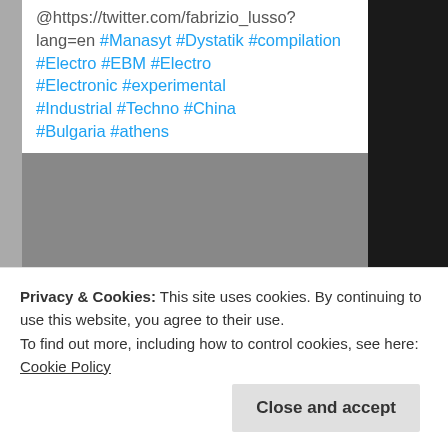@https://twitter.com/fabrizio_lusso?lang=en #Manasyt #Dystatik #compilation #Electro #EBM #Electro #Electronic #experimental #Industrial #Techno #China #Bulgaria #athens
[Figure (illustration): Album artwork: black background with bright purple/magenta flame-like tendrils. Text reads 'VARIOUS ARTISTS' in green, with a list of artist names below in small green/teal text on a dark background.]
whitelight-whiteheat.com
Privacy & Cookies: This site uses cookies. By continuing to use this website, you agree to their use.
To find out more, including how to control cookies, see here: Cookie Policy
Close and accept
@fa... · 18h